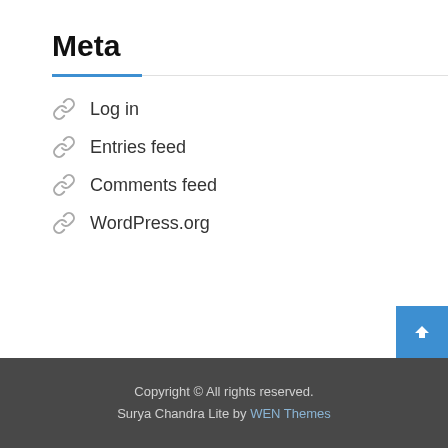Meta
Log in
Entries feed
Comments feed
WordPress.org
Copyright © All rights reserved.
Surya Chandra Lite by WEN Themes